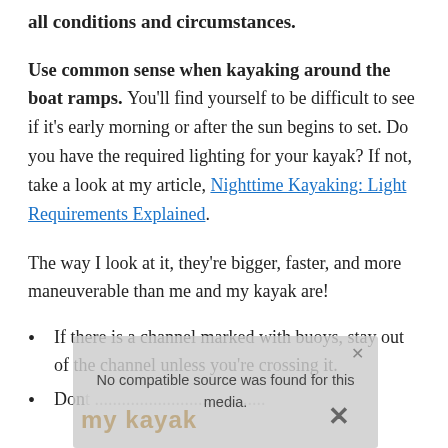all conditions and circumstances.
Use common sense when kayaking around the boat ramps
You'll find yourself to be difficult to see if it's early morning or after the sun begins to set. Do you have the required lighting for your kayak? If not, take a look at my article, Nighttime Kayaking: Light Requirements Explained.
The way I look at it, they're bigger, faster, and more maneuverable than me and my kayak are!
If there is a channel marked with buoys, stay out of the channel unless you're crossing it.
Don't...
[Figure (other): Video player overlay showing 'No compatible source was found for this media.' with watermark text 'my kayak' and a close/X button.]